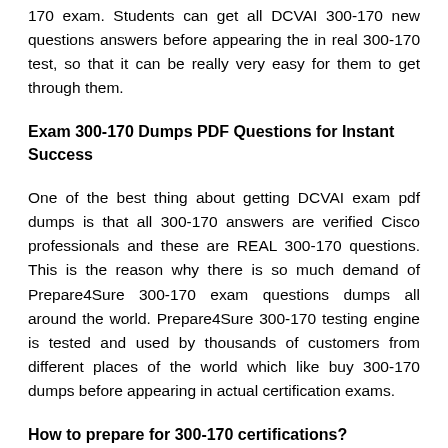170 exam. Students can get all DCVAI 300-170 new questions answers before appearing the in real 300-170 test, so that it can be really very easy for them to get through them.
Exam 300-170 Dumps PDF Questions for Instant Success
One of the best thing about getting DCVAI exam pdf dumps is that all 300-170 answers are verified Cisco professionals and these are REAL 300-170 questions. This is the reason why there is so much demand of Prepare4Sure 300-170 exam questions dumps all around the world. Prepare4Sure 300-170 testing engine is tested and used by thousands of customers from different places of the world which like buy 300-170 dumps before appearing in actual certification exams.
How to prepare for 300-170 certifications?